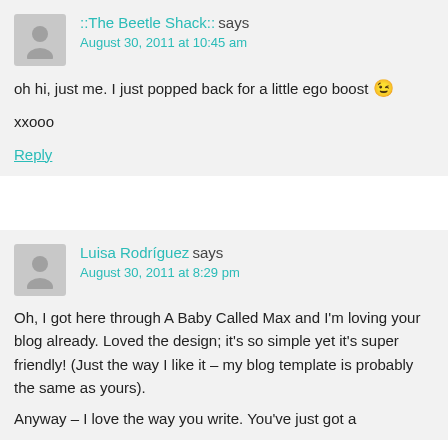::The Beetle Shack:: says August 30, 2011 at 10:45 am
oh hi, just me. I just popped back for a little ego boost 😉
xxooo
Reply
Luisa Rodríguez says August 30, 2011 at 8:29 pm
Oh, I got here through A Baby Called Max and I'm loving your blog already. Loved the design; it's so simple yet it's super friendly! (Just the way I like it – my blog template is probably the same as yours).
Anyway – I love the way you write. You've just got a